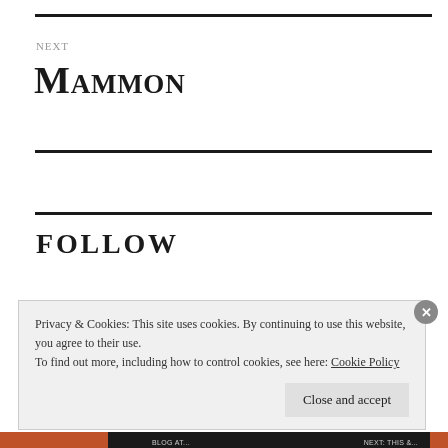NEXT
Mammon
FOLLOW
Privacy & Cookies: This site uses cookies. By continuing to use this website, you agree to their use.
To find out more, including how to control cookies, see here: Cookie Policy
Close and accept